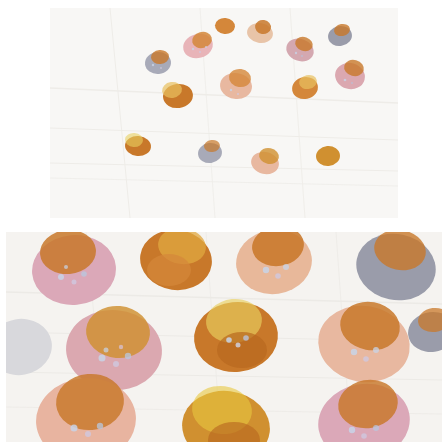[Figure (photo): Overhead shot of small colorful chocolate-dipped popcorn or candy pieces scattered on a white surface. Pieces are coated in pastel colors (pink, peach, grey/lavender) with golden caramel centers and iridescent glitter sprinkles. Photo is bright and airy with lots of white space.]
[Figure (photo): Close-up overhead shot of the same colorful chocolate-dipped popcorn or candy pieces on a white surface. Shows more detail of the pastel pink, peach, grey coatings with golden caramel centers and sparkly iridescent sugar sprinkles. The image fills the frame with less white space than the top photo.]